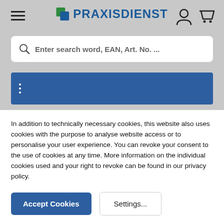[Figure (screenshot): Praxisdienst website header with hamburger menu, logo, user icon, cart icon, search bar, and blue banner]
In addition to technically necessary cookies, this website also uses cookies with the purpose to analyse website access or to personalise your user experience. You can revoke your consent to the use of cookies at any time. More information on the individual cookies used and your right to revoke can be found in our privacy policy.
Accept Cookies
Settings...